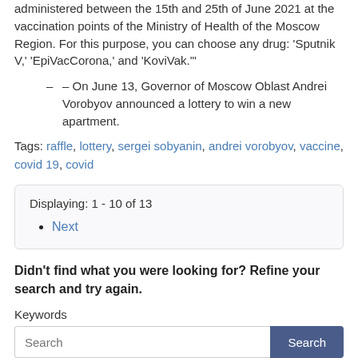administered between the 15th and 25th of June 2021 at the vaccination points of the Ministry of Health of the Moscow Region. For this purpose, you can choose any drug: 'Sputnik V,' 'EpiVacCorona,' and 'KoviVak.'"
On June 13, Governor of Moscow Oblast Andrei Vorobyov announced a lottery to win a new apartment.
Tags: raffle, lottery, sergei sobyanin, andrei vorobyov, vaccine, covid 19, covid
Displaying: 1 - 10 of 13
Next
Didn't find what you were looking for? Refine your search and try again.
Keywords
Search